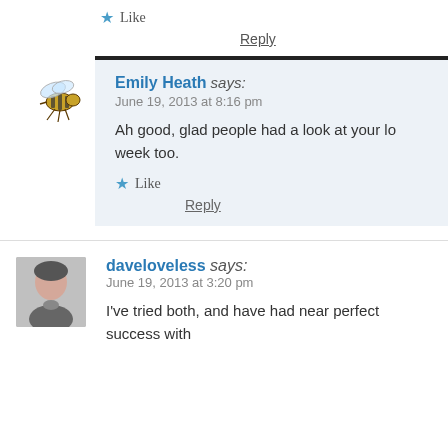★ Like
Reply
Emily Heath says:
June 19, 2013 at 8:16 pm
Ah good, glad people had a look at your lo... week too.
★ Like
Reply
daveloveless says:
June 19, 2013 at 3:20 pm
I've tried both, and have had near perfect success with...